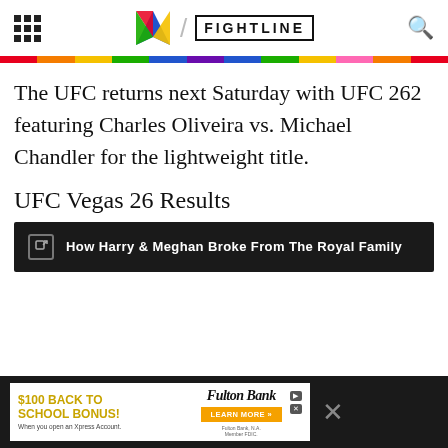X / FIGHTLINE
The UFC returns next Saturday with UFC 262 featuring Charles Oliveira vs. Michael Chandler for the lightweight title.
UFC Vegas 26 Results
How Harry & Meghan Broke From The Royal Family
[Figure (screenshot): Bottom advertisement banner: $100 BACK TO SCHOOL BONUS! Fulton Bank. When you open an Xpress Account. LEARN MORE »]